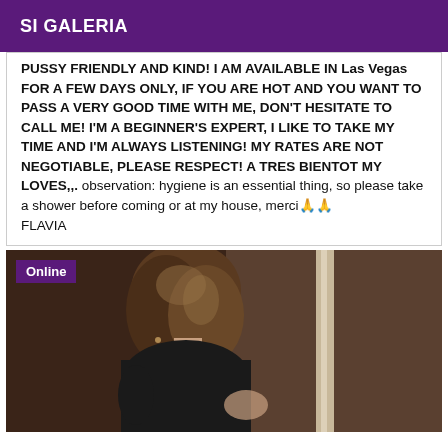SI GALERIA
PUSSY FRIENDLY AND KIND! I AM AVAILABLE IN Las Vegas FOR A FEW DAYS ONLY, IF YOU ARE HOT AND YOU WANT TO PASS A VERY GOOD TIME WITH ME, DON'T HESITATE TO CALL ME! I'M A BEGINNER'S EXPERT, I LIKE TO TAKE MY TIME AND I'M ALWAYS LISTENING! MY RATES ARE NOT NEGOTIABLE, PLEASE RESPECT! A TRES BIENTOT MY LOVES,,.. observation: hygiene is an essential thing, so please take a shower before coming or at my house, merci🙏🙏 FLAVIA
[Figure (photo): Photo of a woman with brown hair, shown from the back, in a dimly lit indoor setting. An 'Online' badge appears in the top-left corner.]